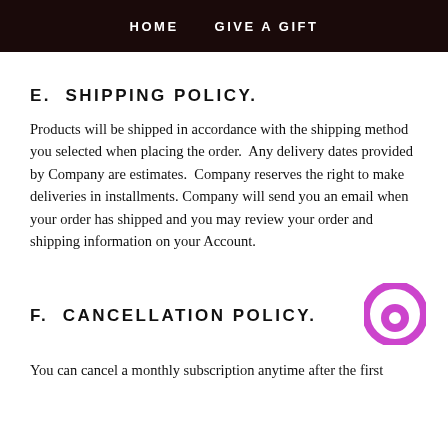HOME   GIVE A GIFT
E.  SHIPPING POLICY.
Products will be shipped in accordance with the shipping method you selected when placing the order.  Any delivery dates provided by Company are estimates.  Company reserves the right to make deliveries in installments.  Company will send you an email when your order has shipped and you may review your order and shipping information on your Account.
F.  CANCELLATION POLICY.
You can cancel a monthly subscription anytime after the first